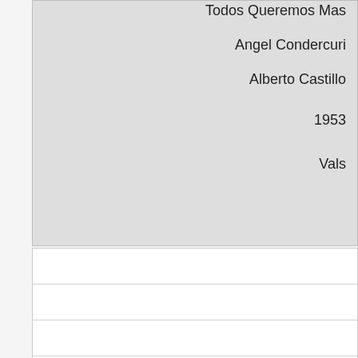| Todos Queremos Mas | Angel Condercuri | Alberto Castillo | 1953 | Vals |
|  |  |  |  |  |
| Isabelita | Alfredo Gobbi |  |  | Vals |
| Rosamel |